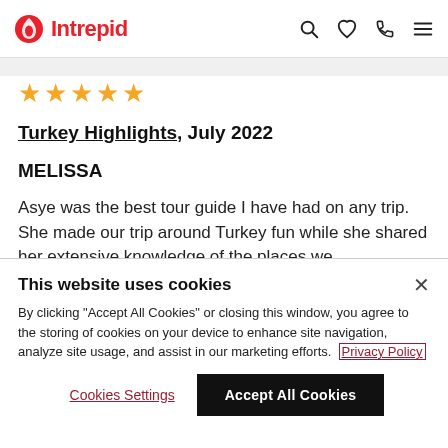Intrepid
★★★★★
Turkey Highlights, July 2022
MELISSA
Asye was the best tour guide I have had on any trip. She made our trip around Turkey fun while she shared her extensive knowledge of the places we
This website uses cookies
By clicking "Accept All Cookies" or closing this window, you agree to the storing of cookies on your device to enhance site navigation, analyze site usage, and assist in our marketing efforts. Privacy Policy
Cookies Settings
Accept All Cookies